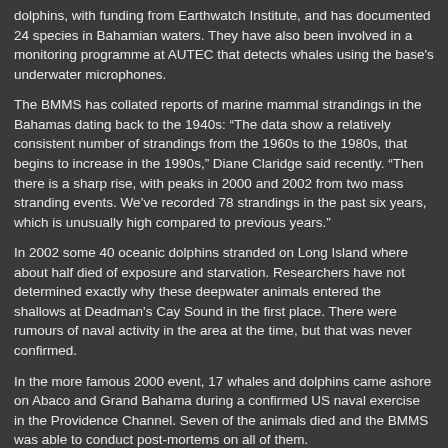dolphins, with funding from Earthwatch Institute, and has documented 24 species in Bahamian waters. They have also been involved in a monitoring programme at AUTEC that detects whales using the base's underwater microphones.
The BMMS has collated reports of marine mammal strandings in the Bahamas dating back to the 1940s: “The data show a relatively consistent number of strandings from the 1960s to the 1980s, that begins to increase in the 1990s,” Diane Claridge said recently. “Then there is a sharp rise, with peaks in 2000 and 2002 from two mass stranding events. We’ve recorded 78 strandings in the past six years, which is unusually high compared to previous years.”
In 2002 some 40 oceanic dolphins stranded on Long Island where about half died of exposure and starvation. Researchers have not determined exactly why these deepwater animals entered the shallows at Deadman’s Cay Sound in the first place. There were rumours of naval activity in the area at the time, but that was never confirmed.
In the more famous 2000 event, 17 whales and dolphins came ashore on Abaco and Grand Bahama during a confirmed US naval exercise in the Providence Channel. Seven of the animals died and the BMMS was able to conduct post-mortems on all of them.
Claridge and former BMMS scientist Ken Balcomb reported their findings in the May 2001 issue of the Bahamas Journal of Science*: “We concluded